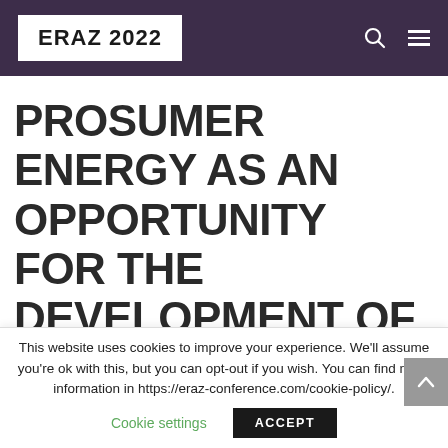ERAZ 2022
PROSUMER ENERGY AS AN OPPORTUNITY FOR THE DEVELOPMENT OF RURAL COMMUNITY IN
This website uses cookies to improve your experience. We'll assume you're ok with this, but you can opt-out if you wish. You can find more information in https://eraz-conference.com/cookie-policy/.
Cookie settings  ACCEPT